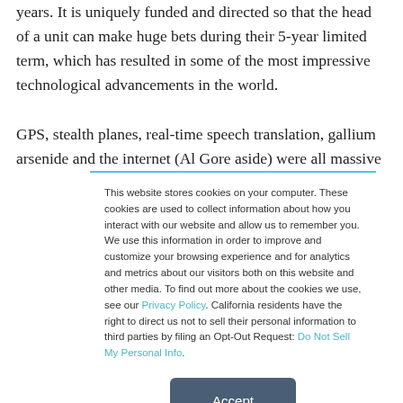years. It is uniquely funded and directed so that the head of a unit can make huge bets during their 5-year limited term, which has resulted in some of the most impressive technological advancements in the world.

GPS, stealth planes, real-time speech translation, gallium arsenide and the internet (Al Gore aside) were all massive
This website stores cookies on your computer. These cookies are used to collect information about how you interact with our website and allow us to remember you. We use this information in order to improve and customize your browsing experience and for analytics and metrics about our visitors both on this website and other media. To find out more about the cookies we use, see our Privacy Policy. California residents have the right to direct us not to sell their personal information to third parties by filing an Opt-Out Request: Do Not Sell My Personal Info.
Accept